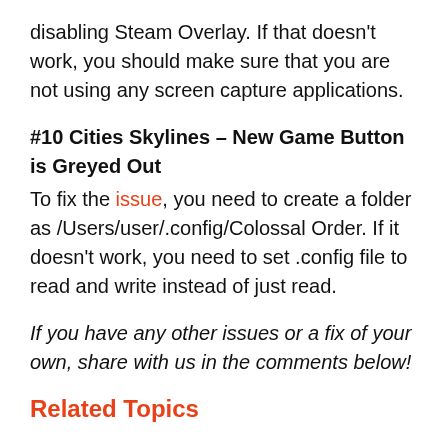disabling Steam Overlay. If that doesn't work, you should make sure that you are not using any screen capture applications.
#10 Cities Skylines – New Game Button is Greyed Out
To fix the issue, you need to create a folder as /Users/user/.config/Colossal Order. If it doesn't work, you need to set .config file to read and write instead of just read.
If you have any other issues or a fix of your own, share with us in the comments below!
Related Topics